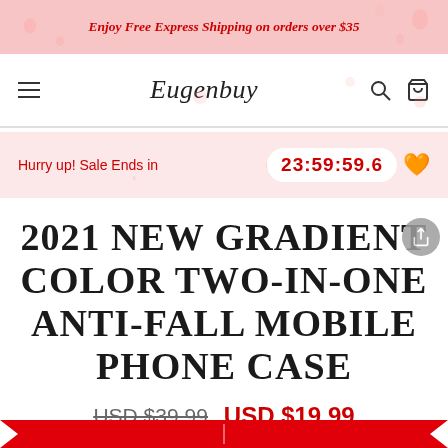Enjoy Free Express Shipping on orders over $35
Eugenbuy
Hurry up! Sale Ends in  23:59:59.6
2021 NEW GRADIENT COLOR TWO-IN-ONE ANTI-FALL MOBILE PHONE CASE
USD $39.99  USD $19.99